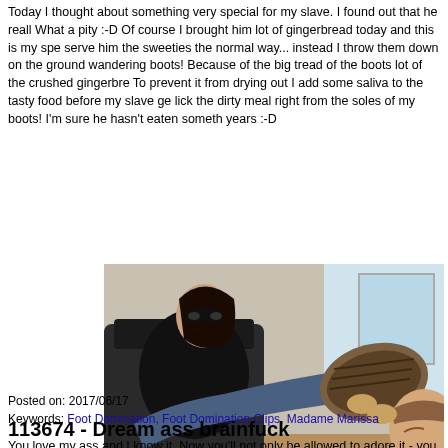Today I thought about something very special for my slave. I found out that he reall... What a pity :-D Of course I brought him lot of gingerbread today and this is my spe... serve him the sweeties the normal way... instead I throw them down on the ground... wandering boots! Because of the big tread of the boots lot of the crushed gingerbre... To prevent it from drying out I add some saliva to the tasty food before my slave ge... lick the dirty meal right from the soles of my boots! I'm sure he hasn't eaten someth... years :-D
[Figure (photo): Photo of a woman in a black mask sitting in a chair with boots extended, and a man licking the sole of her boot.]
Posted on: 2017/06/17
Keywords: Foot Domination, Foot Domination Clips, Madame Marissa
113674 - Dream ass brainfuck
You love my ass and I know it. Now you'll not only be allowed to adore it - you also... so close to your face fucks your brain - you get unbelievably horny and can't do an... dick. It gets harder and harder until you cum!